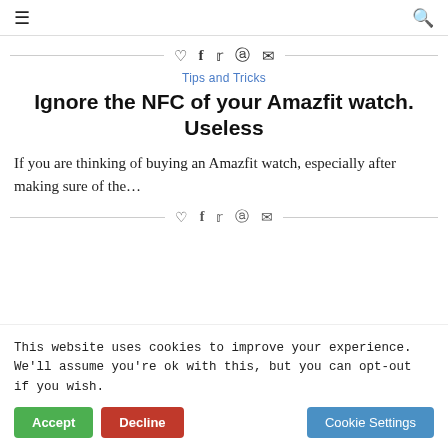≡  🔍
♡ f 𝕥 𝗽 ✉
Tips and Tricks
Ignore the NFC of your Amazfit watch. Useless
If you are thinking of buying an Amazfit watch, especially after making sure of the…
♡ f 𝕥 𝗽 ✉
This website uses cookies to improve your experience. We'll assume you're ok with this, but you can opt-out if you wish.
Accept   Decline   Cookie Settings